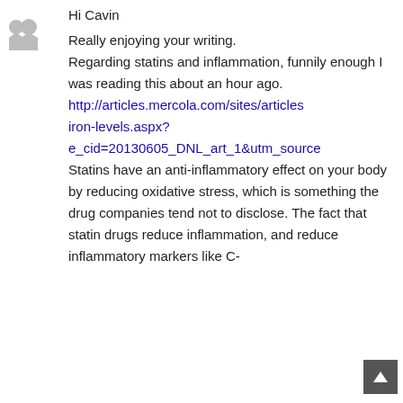[Figure (illustration): Grey avatar/user icon (two silhouette figures side by side)]
Hi Cavin
Really enjoying your writing.
Regarding statins and inflammation, funnily enough I was reading this about an hour ago.
http://articles.mercola.com/sites/articles/iron-levels.aspx?e_cid=20130605_DNL_art_1&utm_source
Statins have an anti-inflammatory effect on your body by reducing oxidative stress, which is something the drug companies tend not to disclose. The fact that statin drugs reduce inflammation, and reduce inflammatory markers like C-